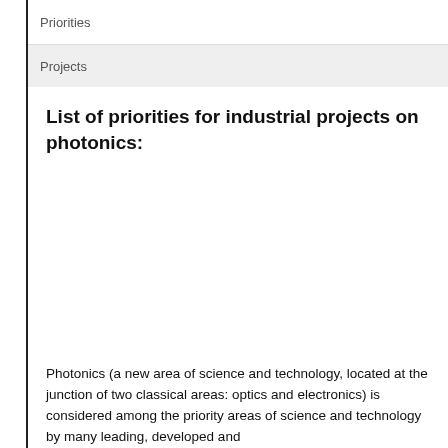Priorities
Projects
List of priorities for industrial projects on photonics:
Photonics (a new area of science and technology, located at the junction of two classical areas: optics and electronics) is considered among the priority areas of science and technology by many leading, developed and